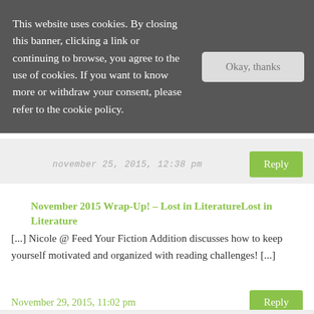This website uses cookies. By closing this banner, clicking a link or continuing to browse, you agree to the use of cookies. If you want to know more or withdraw your consent, please refer to the cookie policy.
Okay, thanks
november 25, 2015, 12:38 pm
Reply
November 2015 Wrap-Up! – Lost in LiteratureLost in Literature
[...] Nicole @ Feed Your Fiction Addition discusses how to keep yourself motivated and organized with reading challenges! [...]
November 29, 2015, 11:02 pm
Reply